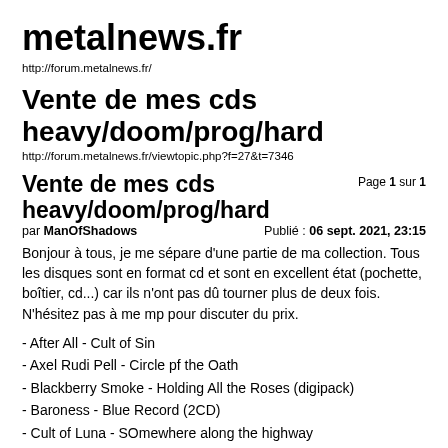metalnews.fr
http://forum.metalnews.fr/
Vente de mes cds heavy/doom/prog/hard
http://forum.metalnews.fr/viewtopic.php?f=27&t=7346
Vente de mes cds heavy/doom/prog/hard
Page 1 sur 1
par ManOfShadows	Publié : 06 sept. 2021, 23:15
Bonjour à tous, je me sépare d'une partie de ma collection. Tous les disques sont en format cd et sont en excellent état (pochette, boîtier, cd...) car ils n'ont pas dû tourner plus de deux fois. N'hésitez pas à me mp pour discuter du prix.
- After All - Cult of Sin
- Axel Rudi Pell - Circle pf the Oath
- Blackberry Smoke - Holding All the Roses (digipack)
- Baroness - Blue Record (2CD)
- Cult of Luna - SOmewhere along the highway
- Clutch - Book of Bad Decision (digipack)
- Colosseum - Chapter 1: Delirium